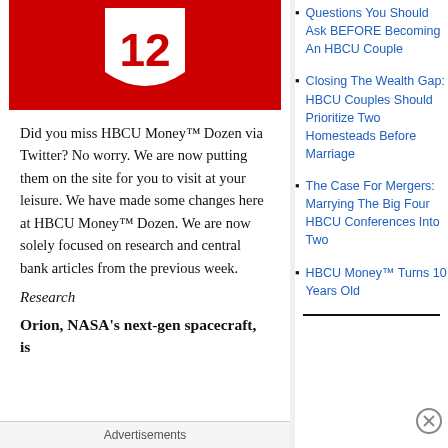[Figure (illustration): Red shield logo with number 12 in white, on a red background banner]
Did you miss HBCU Money™ Dozen via Twitter? No worry. We are now putting them on the site for you to visit at your leisure. We have made some changes here at HBCU Money™ Dozen. We are now solely focused on research and central bank articles from the previous week.
Research
Orion, NASA's next-gen spacecraft, is
Questions You Should Ask BEFORE Becoming An HBCU Couple
Closing The Wealth Gap: HBCU Couples Should Prioritize Two Homesteads Before Marriage
The Case For Mergers: Marrying The Big Four HBCU Conferences Into Two
HBCU Money™ Turns 10 Years Old
Advertisements